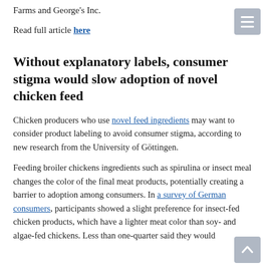Farms and George's Inc.
Read full article here
Without explanatory labels, consumer stigma would slow adoption of novel chicken feed
Chicken producers who use novel feed ingredients may want to consider product labeling to avoid consumer stigma, according to new research from the University of Göttingen.
Feeding broiler chickens ingredients such as spirulina or insect meal changes the color of the final meat products, potentially creating a barrier to adoption among consumers. In a survey of German consumers, participants showed a slight preference for insect-fed chicken products, which have a lighter meat color than soy- and algae-fed chickens. Less than one-quarter said they would